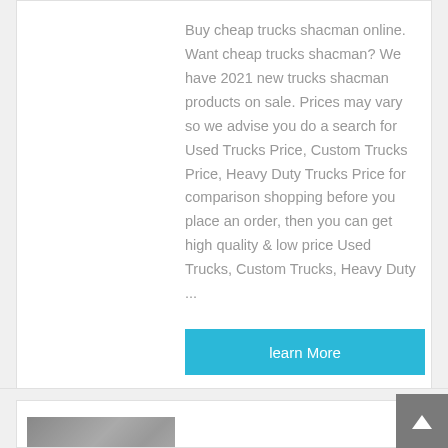Buy cheap trucks shacman online. Want cheap trucks shacman? We have 2021 new trucks shacman products on sale. Prices may vary so we advise you do a search for Used Trucks Price, Custom Trucks Price, Heavy Duty Trucks Price for comparison shopping before you place an order, then you can get high quality & low price Used Trucks, Custom Trucks, Heavy Duty ...
learn More
[Figure (photo): Photo of a red and black truck/mixer vehicle, partially visible at bottom of page]
shacman single head...